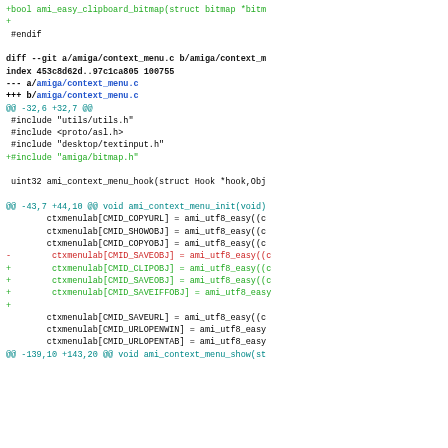git diff output showing changes to amiga/context_menu.c